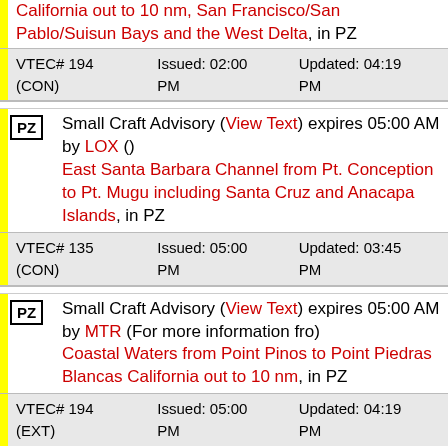California out to 10 nm, San Francisco/San Pablo/Suisun Bays and the West Delta, in PZ
| VTEC# 194 (CON) | Issued: 02:00 PM | Updated: 04:19 PM |
Small Craft Advisory (View Text) expires 05:00 AM by LOX () East Santa Barbara Channel from Pt. Conception to Pt. Mugu including Santa Cruz and Anacapa Islands, in PZ
| VTEC# 135 (CON) | Issued: 05:00 PM | Updated: 03:45 PM |
Small Craft Advisory (View Text) expires 05:00 AM by MTR (For more information fro) Coastal Waters from Point Pinos to Point Piedras Blancas California out to 10 nm, in PZ
| VTEC# 194 (EXT) | Issued: 05:00 PM | Updated: 04:19 PM |